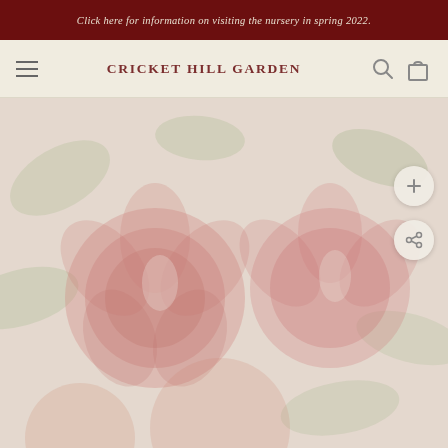Click here for information on visiting the nursery in spring 2022.
CRICKET HILL GARDEN
[Figure (photo): Faded/washed-out photograph of large pink-red peony blooms with green leaves, used as a full-width hero image on the Cricket Hill Garden website. Two circular floating action buttons (plus and share) overlay the top-right area of the image.]